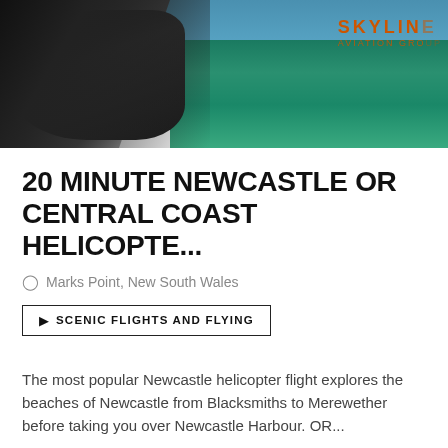[Figure (photo): Aerial helicopter view of coastal cliffs and ocean, with Skyline Aviation Group logo overlay in top right corner]
20 MINUTE NEWCASTLE OR CENTRAL COAST HELICOPTE...
Marks Point, New South Wales
SCENIC FLIGHTS AND FLYING
The most popular Newcastle helicopter flight explores the beaches of Newcastle from Blacksmiths to Merewether before taking you over Newcastle Harbour. OR...
A$190